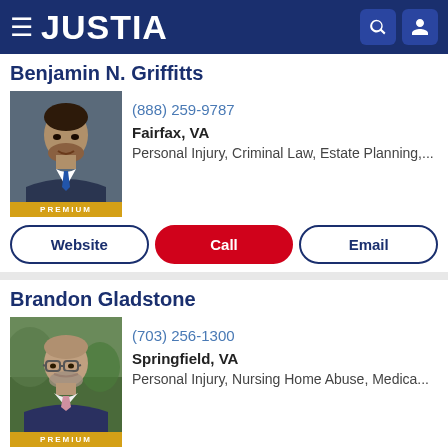JUSTIA
Benjamin N. Griffitts
(888) 259-9787
Fairfax, VA
Personal Injury, Criminal Law, Estate Planning,...
Website | Call | Email
Brandon Gladstone
(703) 256-1300
Springfield, VA
Personal Injury, Nursing Home Abuse, Medica...
Website | Call | Email